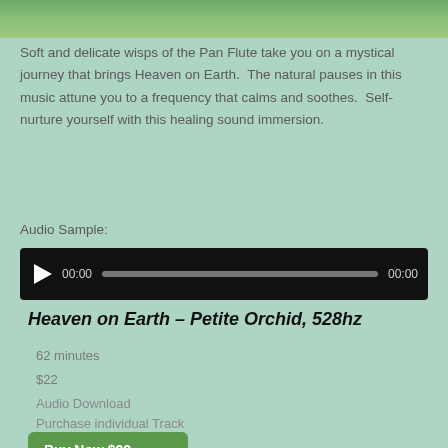[Figure (photo): Blurred green nature/foliage background image at the top of the page]
Soft and delicate wisps of the Pan Flute take you on a mystical journey that brings Heaven on Earth.  The natural pauses in this music attune you to a frequency that calms and soothes.  Self-nurture yourself with this healing sound immersion.
Audio Sample:
[Figure (other): Audio player with play button, time display 00:00, progress bar, and end time 00:00 on black background]
Heaven on Earth – Petite Orchid, 528hz
62 minutes
$22
Audio Download
Purchase individual Track
Buy Now $22